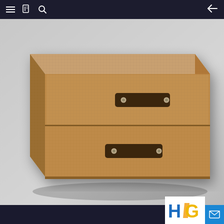Navigation bar with menu, document, search icons and back arrow
[Figure (photo): A two-drawer fabric storage box with linen texture in beige/tan color. Each drawer has a dark brown leather pull handle with metal rivets. The box sits on a light gray background.]
[Figure (logo): HG logo with blue H and yellow-orange G letters with a diagonal stripe]
[Figure (other): Blue mail/envelope button in bottom right corner]